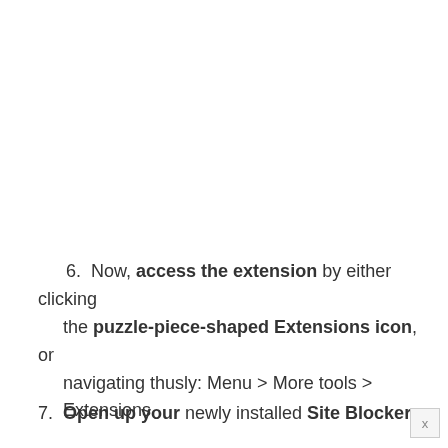6. Now, access the extension by either clicking the puzzle-piece-shaped Extensions icon, or navigating thusly: Menu > More tools > Extensions
7. Open up your newly installed Site Blocker